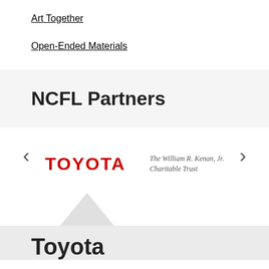Art Together
Open-Ended Materials
NCFL Partners
[Figure (logo): Carousel showing Toyota logo and The William R. Kenan, Jr. Charitable Trust text logo, with left and right navigation arrows]
Toyota